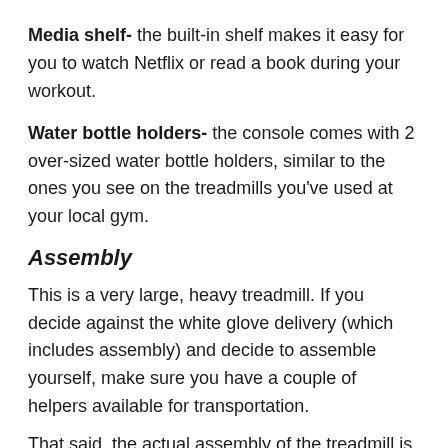Media shelf- the built-in shelf makes it easy for you to watch Netflix or read a book during your workout.
Water bottle holders- the console comes with 2 over-sized water bottle holders, similar to the ones you see on the treadmills you've used at your local gym.
Assembly
This is a very large, heavy treadmill. If you decide against the white glove delivery (which includes assembly) and decide to assemble yourself, make sure you have a couple of helpers available for transportation.
That said, the actual assembly of the treadmill is pretty straightforward.
The assembly manual is easy to follow- there are detailed written instructions for each step, as well...